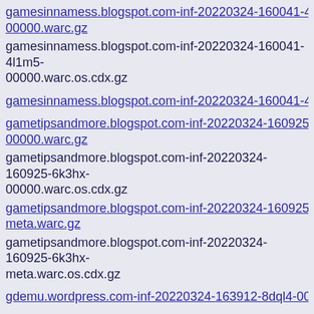gamesinnamess.blogspot.com-inf-20220324-160041-4l1m5-00000.warc.gz (link)
gamesinnamess.blogspot.com-inf-20220324-160041-4l1m5-00000.warc.os.cdx.gz
gamesinnamess.blogspot.com-inf-20220324-160041-4l1m5.js (link, truncated)
gametipsandmore.blogspot.com-inf-20220324-160925-6k3hx-00000.warc.gz (link)
gametipsandmore.blogspot.com-inf-20220324-160925-6k3hx-00000.warc.os.cdx.gz
gametipsandmore.blogspot.com-inf-20220324-160925-6k3hx-meta.warc.gz (link)
gametipsandmore.blogspot.com-inf-20220324-160925-6k3hx-meta.warc.os.cdx.gz
gdemu.wordpress.com-inf-20220324-163912-8dql4-00000.wa (link, truncated)
gdemu.wordpress.com-inf-20220324-163912-8dql4-00000.warc.os.cdx.gz
global-assembly.org-inf-20220324-223118-exqru-00000.warc. (link, truncated)
global-assembly.org-inf-20220324-223118-exqru- (truncated)